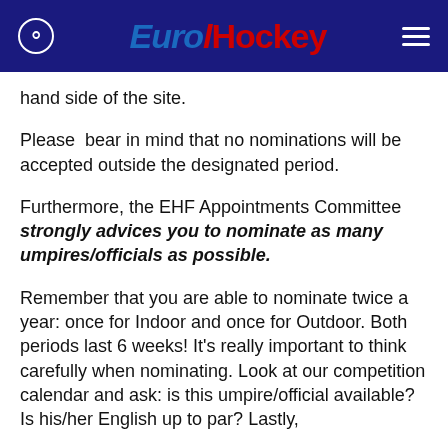EuroHockey
hand side of the site.
Please bear in mind that no nominations will be accepted outside the designated period.
Furthermore, the EHF Appointments Committee strongly advices you to nominate as many umpires/officials as possible.
Remember that you are able to nominate twice a year: once for Indoor and once for Outdoor. Both periods last 6 weeks! It's really important to think carefully when nominating. Look at our competition calendar and ask: is this umpire/official available? Is his/her English up to par? Lastly,